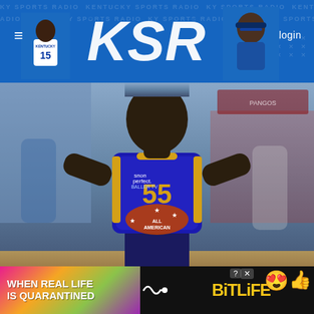KSR — Kentucky Sports Radio, login
[Figure (photo): Basketball player Ian Jackson wearing jersey number 55 (blue/purple with gold accents, Pangos All-American branding) at the Pangos All-American Camp]
LAS VEGAS, NV - JUNE 07: Ian Jackson looks on during the Pangos All-American Camp on June 7, 2022 at the Bishop Gorman High School in Las Vegas, NV. (Photo by Brian Rothmuller/Icon Sportswire via Getty Images)
One of Kentucky's top recruiting targets in the class of 2024 has been singled out as a top performer at U17 USA Basketball Camp in
[Figure (other): BitLife advertisement banner — WHEN REAL LIFE IS QUARANTINED / BitLife with colorful emoji characters]